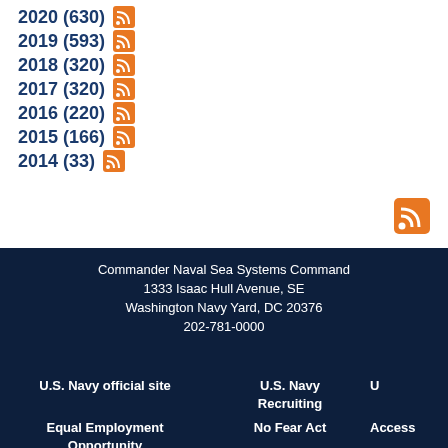2020 (630)
2019 (593)
2018 (320)
2017 (320)
2016 (220)
2015 (166)
2014 (33)
Commander Naval Sea Systems Command
1333 Isaac Hull Avenue, SE
Washington Navy Yard, DC 20376
202-781-0000
U.S. Navy official site | U.S. Navy Recruiting | U
Equal Employment Opportunity | Access
No Fear Act
Freedom of Information Act | Open Government | Privacy P